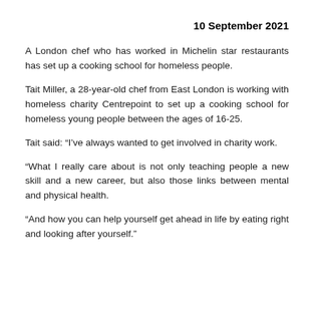10 September 2021
A London chef who has worked in Michelin star restaurants has set up a cooking school for homeless people.
Tait Miller, a 28-year-old chef from East London is working with homeless charity Centrepoint to set up a cooking school for homeless young people between the ages of 16-25.
Tait said: “I’ve always wanted to get involved in charity work.
“What I really care about is not only teaching people a new skill and a new career, but also those links between mental and physical health.
“And how you can help yourself get ahead in life by eating right and looking after yourself.”